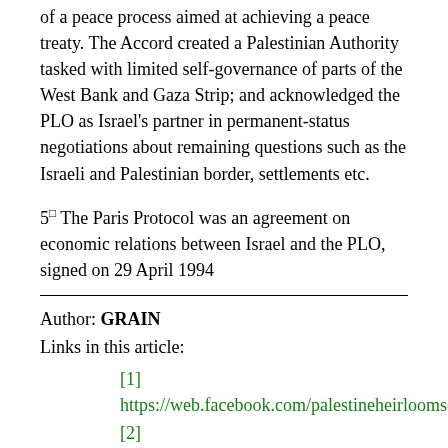of a peace process aimed at achieving a peace treaty. The Accord created a Palestinian Authority tasked with limited self-governance of parts of the West Bank and Gaza Strip; and acknowledged the PLO as Israel's partner in permanent-status negotiations about remaining questions such as the Israeli and Palestinian border, settlements etc.
5□ The Paris Protocol was an agreement on economic relations between Israel and the PLO, signed on 29 April 1994
Author: GRAIN
Links in this article:
[1] https://web.facebook.com/palestineheirloomseeds/
[2] https://pulitzercenter.org/reporting/food-first-frontier-israeli-palestinian-conflict
[3] https://web.facebook.com/auchandegagesenegal/?